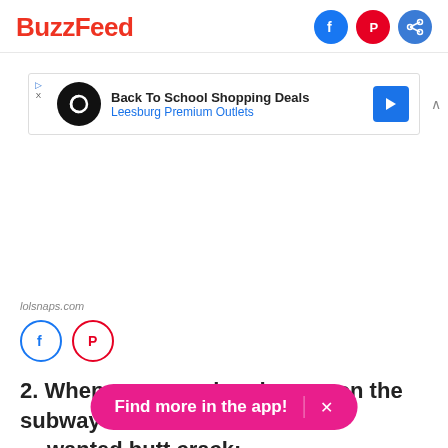BuzzFeed
[Figure (screenshot): Advertisement banner: Back To School Shopping Deals - Leesburg Premium Outlets]
lolsnaps.com
[Figure (infographic): Social share icons: Facebook and Pinterest circles]
2. When someone bends over on the subway an... wanted butt crack:
Find more in the app!